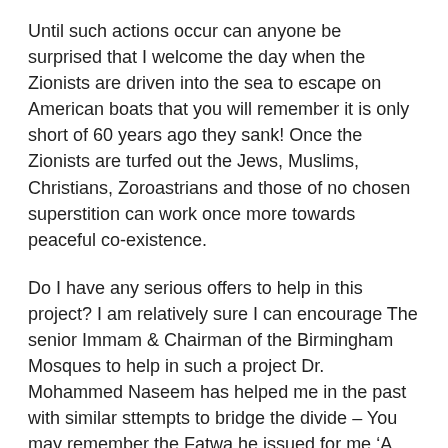Until such actions occur can anyone be surprised that I welcome the day when the Zionists are driven into the sea to escape on American boats that you will remember it is only short of 60 years ago they sank! Once the Zionists are turfed out the Jews, Muslims, Christians, Zoroastrians and those of no chosen superstition can work once more towards peaceful co-existence.
Do I have any serious offers to help in this project? I am relatively sure I can encourage The senior Immam & Chairman of the Birmingham Mosques to help in such a project Dr. Mohammed Naseem has helped me in the past with similar sttempts to bridge the divide – You may remember the Fatwa he issued for me ‘A Fatwa AGAINST The Killing of Innocent Civilians by Muslims and suicide bombers’.